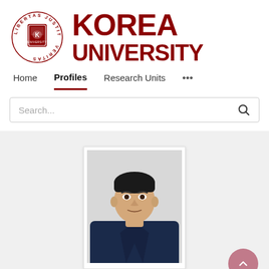[Figure (logo): Korea University logo: circular badge with 'LIBERTAS JUSTITIA VERITAS' text around a shield, next to bold dark red text reading 'KOREA UNIVERSITY']
Home   Profiles   Research Units   ...
Search...
[Figure (photo): Headshot photo of an East Asian man in dark navy shirt, neutral expression, white background]
View Scopus Profile